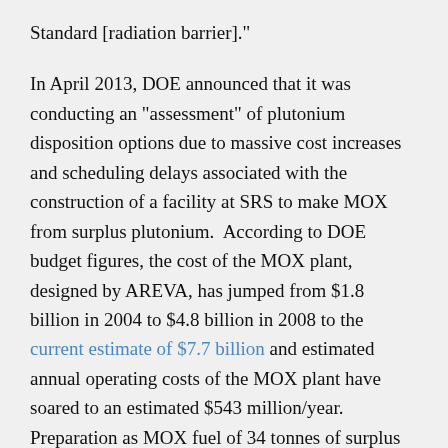Standard [radiation barrier]."
In April 2013, DOE announced that it was conducting an "assessment" of plutonium disposition options due to massive cost increases and scheduling delays associated with the construction of a facility at SRS to make MOX from surplus plutonium. According to DOE budget figures, the cost of the MOX plant, designed by AREVA, has jumped from $1.8 billion in 2004 to $4.8 billion in 2008 to the current estimate of $7.7 billion and estimated annual operating costs of the MOX plant have soared to an estimated $543 million/year. Preparation as MOX fuel of 34 tonnes of surplus U.S. plutonium, the amount covered in the Plutonium Management and Disposition Agreement with Russia, which can be changed by mutual agreement of the parties, will greatly exceed the cost of preparation for disposal in